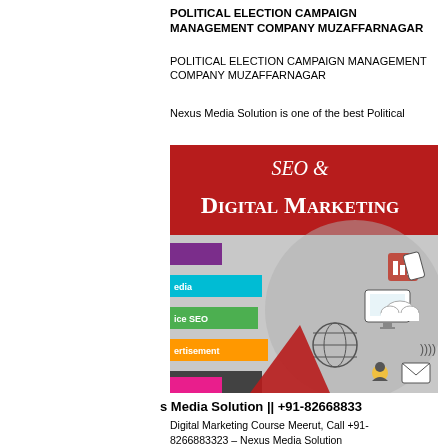POLITICAL ELECTION CAMPAIGN MANAGEMENT COMPANY MUZAFFARNAGAR
POLITICAL ELECTION CAMPAIGN MANAGEMENT COMPANY MUZAFFARNAGAR
Nexus Media Solution is one of the best Political
[Figure (infographic): SEO & Digital Marketing infographic banner with red header showing 'SEO & Digital Marketing' text, colored horizontal bars on the left (purple, teal, green, orange, dark gray, magenta) with labels including 'edia', 'ice SEO', 'ertisement', 'eration', and digital marketing icons on the right side including computer monitor, globe, mobile devices, charts, email, cloud icons on a gray background.]
s Media Solution || +91-82668833
Digital Marketing Course Meerut, Call +91-8266883323 – Nexus Media Solution
Digital Marketing Course Meerut, Call +91-